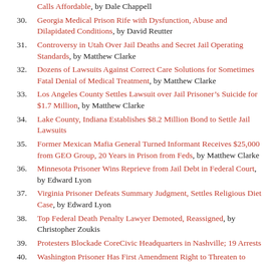Calls Affordable, by Dale Chappell
30. Georgia Medical Prison Rife with Dysfunction, Abuse and Dilapidated Conditions, by David Reutter
31. Controversy in Utah Over Jail Deaths and Secret Jail Operating Standards, by Matthew Clarke
32. Dozens of Lawsuits Against Correct Care Solutions for Sometimes Fatal Denial of Medical Treatment, by Matthew Clarke
33. Los Angeles County Settles Lawsuit over Jail Prisoner’s Suicide for $1.7 Million, by Matthew Clarke
34. Lake County, Indiana Establishes $8.2 Million Bond to Settle Jail Lawsuits
35. Former Mexican Mafia General Turned Informant Receives $25,000 from GEO Group, 20 Years in Prison from Feds, by Matthew Clarke
36. Minnesota Prisoner Wins Reprieve from Jail Debt in Federal Court, by Edward Lyon
37. Virginia Prisoner Defeats Summary Judgment, Settles Religious Diet Case, by Edward Lyon
38. Top Federal Death Penalty Lawyer Demoted, Reassigned, by Christopher Zoukis
39. Protesters Blockade CoreCivic Headquarters in Nashville; 19 Arrests
40. Washington Prisoner Has First Amendment Right to Threaten to